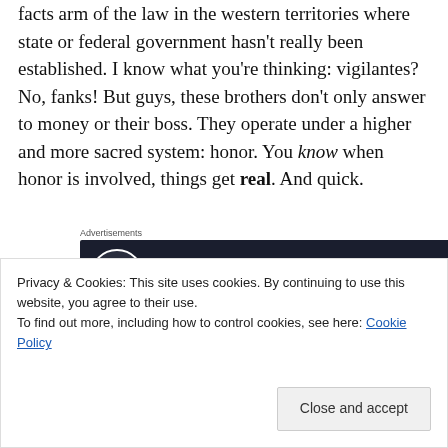facts arm of the law in the western territories where state or federal government hasn't really been established. I know what you're thinking: vigilantes? No, fanks! But guys, these brothers don't only answer to money or their boss. They operate under a higher and more sacred system: honor. You know when honor is involved, things get real. And quick.
[Figure (other): Advertisement banner for launching an online course with WordPress. Dark navy background with icon, teal text reading 'Launch your online course with WordPress', and a 'Learn More' button.]
So: these Sisters brothers are on their way West (near
Privacy & Cookies: This site uses cookies. By continuing to use this website, you agree to their use. To find out more, including how to control cookies, see here: Cookie Policy